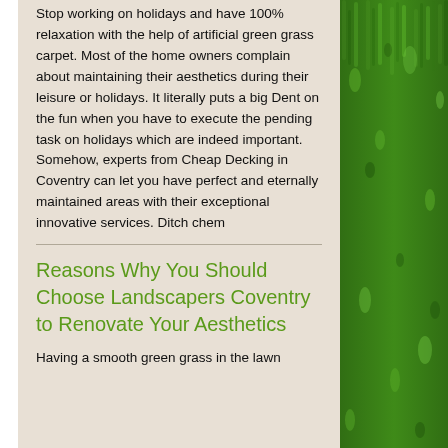Stop working on holidays and have 100% relaxation with the help of artificial green grass carpet. Most of the home owners complain about maintaining their aesthetics during their leisure or holidays. It literally puts a big Dent on the fun when you have to execute the pending task on holidays which are indeed important. Somehow, experts from Cheap Decking in Coventry can let you have perfect and eternally maintained areas with their exceptional innovative services. Ditch chem
Reasons Why You Should Choose Landscapers Coventry to Renovate Your Aesthetics
Having a smooth green grass in the lawn
[Figure (photo): Close-up photo of bright green grass/turf on the right side of the page]